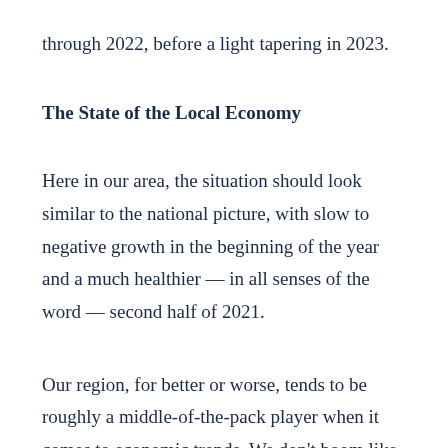through 2022, before a light tapering in 2023.
The State of the Local Economy
Here in our area, the situation should look similar to the national picture, with slow to negative growth in the beginning of the year and a much healthier — in all senses of the word — second half of 2021.
Our region, for better or worse, tends to be roughly a middle-of-the-pack player when it comes to economic trends. We don't boom like some areas, but we don't